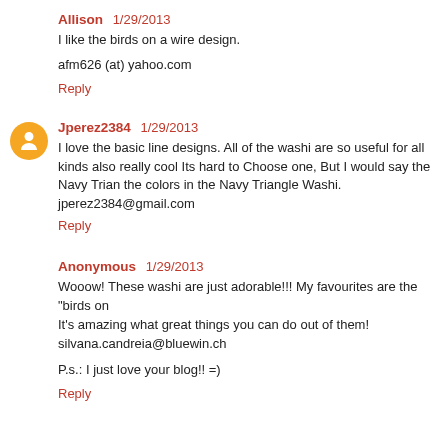Allison  1/29/2013
I like the birds on a wire design.
afm626 (at) yahoo.com
Reply
Jperez2384  1/29/2013
I love the basic line designs. All of the washi are so useful for all kinds also really cool Its hard to Choose one, But I would say the Navy Trian the colors in the Navy Triangle Washi.
jperez2384@gmail.com
Reply
Anonymous  1/29/2013
Wooow! These washi are just adorable!!! My favourites are the "birds on It's amazing what great things you can do out of them!
silvana.candreia@bluewin.ch
P.s.: I just love your blog!! =)
Reply